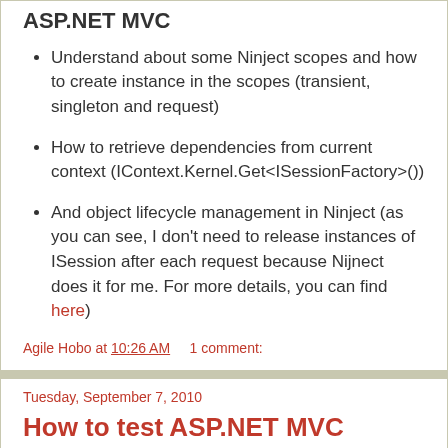ASP.NET MVC
Understand about some Ninject scopes and how to create instance in the scopes (transient, singleton and request)
How to retrieve dependencies from current context (IContext.Kernel.Get<ISessionFactory>())
And object lifecycle management in Ninject (as you can see, I don't need to release instances of ISession after each request because Nijnect does it for me. For more details, you can find here)
Agile Hobo at 10:26 AM    1 comment:
Tuesday, September 7, 2010
How to test ASP.NET MVC routines with optional parameters
I defined a map route in Global.asax.cs as below